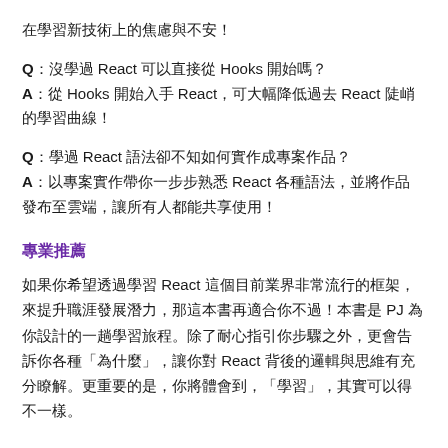在學習新技術上的焦慮與不安！
Q：沒學過 React 可以直接從 Hooks 開始嗎？
A：從 Hooks 開始入手 React，可大幅降低過去 React 陡峭的學習曲線！
Q：學過 React 語法卻不知如何實作成專案作品？
A：以專案實作帶你一步步熟悉 React 各種語法，並將作品發布至雲端，讓所有人都能共享使用！
專業推薦
如果你希望透過學習 React 這個目前業界非常流行的框架，來提升職涯發展潛力，那這本書再適合你不過！本書是 PJ 為你設計的一趟學習旅程。除了耐心指引你步驟之外，更會告訴你各種「為什麼」，讓你對 React 背後的邏輯與思維有充分瞭解。更重要的是，你將體會到，「學習」，其實可以得不一樣。